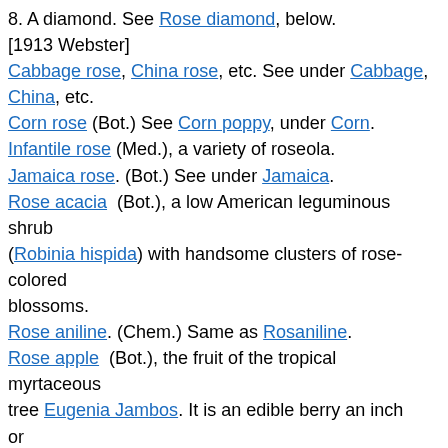8. A diamond. See Rose diamond, below. [1913 Webster] Cabbage rose, China rose, etc. See under Cabbage, China, etc. Corn rose (Bot.) See Corn poppy, under Corn. Infantile rose (Med.), a variety of roseola. Jamaica rose. (Bot.) See under Jamaica. Rose acacia (Bot.), a low American leguminous shrub (Robinia hispida) with handsome clusters of rose-colored blossoms. Rose aniline. (Chem.) Same as Rosaniline. Rose apple (Bot.), the fruit of the tropical myrtaceous tree Eugenia Jambos. It is an edible berry an inch or more in diameter, and is said to have a very strong roselike perfume. Rose beetle. (Zo["o]l.) (a) A small yellowish-brown off-breed colored beetle that